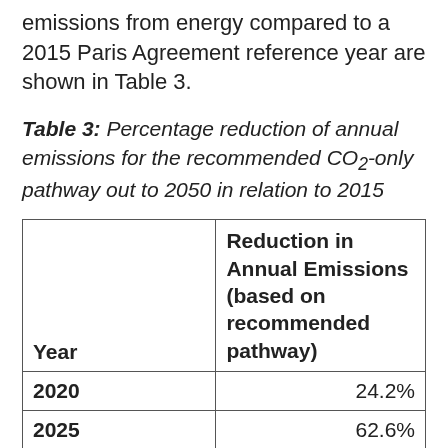emissions from energy compared to a 2015 Paris Agreement reference year are shown in Table 3.
Table 3: Percentage reduction of annual emissions for the recommended CO2-only pathway out to 2050 in relation to 2015
| Year | Reduction in Annual Emissions (based on recommended pathway) |
| --- | --- |
| 2020 | 24.2% |
| 2025 | 62.6% |
| 2030 | 81.6% |